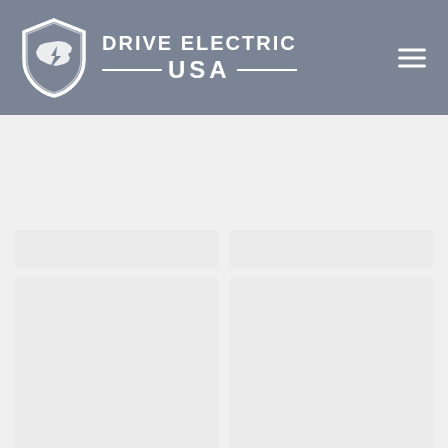Drive Electric USA
[Figure (screenshot): Website screenshot showing Drive Electric USA header with logo, two placeholder content cards in a top row, and two larger placeholder content cards below, plus a language selector showing English with UK flag]
English